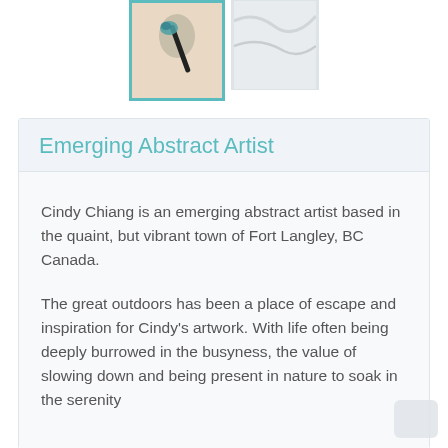[Figure (photo): Two images at top: left image shows a paintbrush with teal/blue paint on a light background, framed with a teal border; right image shows white fabric or canvas, partially visible.]
Emerging Abstract Artist
Cindy Chiang is an emerging abstract artist based in the quaint, but vibrant town of Fort Langley, BC Canada.
The great outdoors has been a place of escape and inspiration for Cindy’s artwork. With life often being deeply burrowed in the busyness, the value of slowing down and being present in nature to soak in the serenity